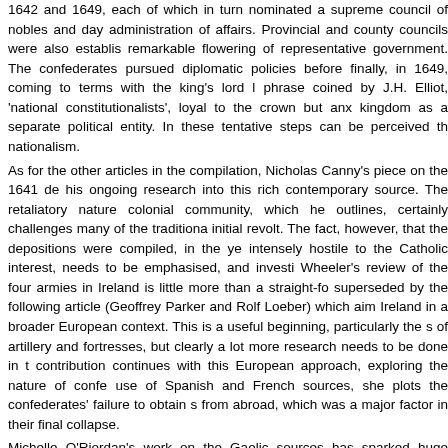1642 and 1649, each of which in turn nominated a supreme council of nobles and day administration of affairs. Provincial and county councils were also established, remarkable flowering of representative government. The confederates pursued diplomatic policies before finally, in 1649, coming to terms with the king's lord lieutenant phrase coined by J.H. Elliot, 'national constitutionalists', loyal to the crown but anxious to maintain the kingdom as a separate political entity. In these tentative steps can be perceived the beginnings of nationalism.
As for the other articles in the compilation, Nicholas Canny's piece on the 1641 depositions draws on his ongoing research into this rich contemporary source. The retaliatory nature of the responses of the colonial community, which he outlines, certainly challenges many of the traditional interpretations of the initial revolt. The fact, however, that the depositions were compiled, in the years after 1641, in a climate intensely hostile to the Catholic interest, needs to be emphasised, and investigated further. James Wheeler's review of the four armies in Ireland is little more than a straight-forward survey, and is superseded by the following article (Geoffrey Parker and Rolf Loeber) which aims to place the wars in Ireland in a broader European context. This is a useful beginning, particularly the section on the deployment of artillery and fortresses, but clearly a lot more research needs to be done in this area. Jerrold Casway's contribution continues with this European approach, exploring the nature of confederate foreign policy. Drawing on use of Spanish and French sources, she plots the confederates' failure to obtain substantial military support from abroad, which was a major factor in their final collapse.
Michelle O'Riordan's work on the Gaelic sources has sparked huge controversy and is addressed in a footnote, although she surprisingly fails to list her main detractors. Her basic thesis, that aristocratic values reflected in the poetry, is here applied to the 1640s. O'Riordan argues that the poe